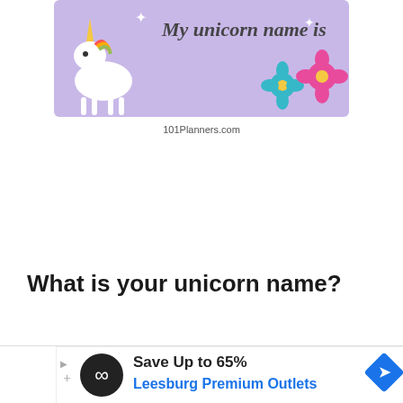[Figure (illustration): Partial unicorn name tag card with purple/lavender background showing a cute unicorn illustration on the left, cursive text 'My unicorn name is' at the top, and floral decorations (teal and pink flowers) on the right side.]
101Planners.com
What is your unicorn name?
[Figure (other): Advertisement banner: Save Up to 65% Leesburg Premium Outlets with navigation arrow icon and Infinity sign logo]